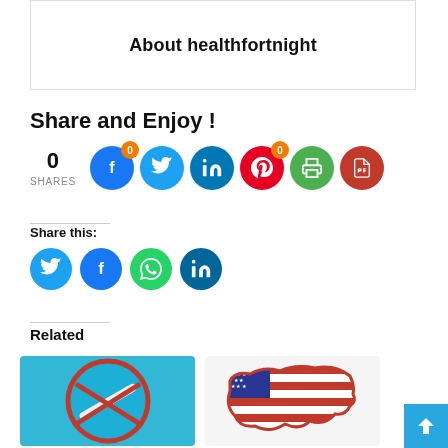About healthfortnight
Share and Enjoy !
0 SHARES
[Figure (infographic): Social share buttons: Facebook (badge 0), Twitter, LinkedIn, Pinterest (badge 0), Print, PDF]
Share this:
[Figure (infographic): Small social share icons: Twitter (blue), Facebook (blue), WhatsApp (green), LinkedIn (dark blue)]
Related
[Figure (illustration): Cigarette no-smoking icon on teal background]
[Figure (illustration): USA map with American flag pattern]